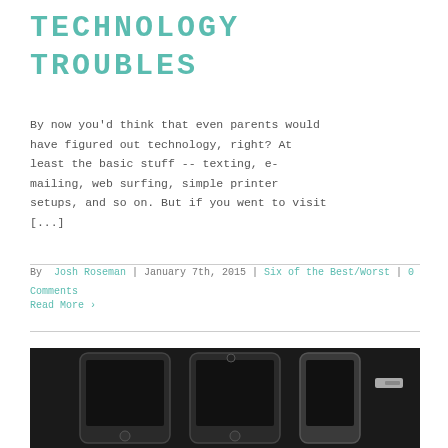TECHNOLOGY TROUBLES
By now you'd think that even parents would have figured out technology, right? At least the basic stuff -- texting, e-mailing, web surfing, simple printer setups, and so on. But if you went to visit [...]
By Josh Roseman | January 7th, 2015 | Six of the Best/Worst | 0 Comments
Read More >
[Figure (photo): Black and white photo of smartphones (iPhones) lined up side by side]